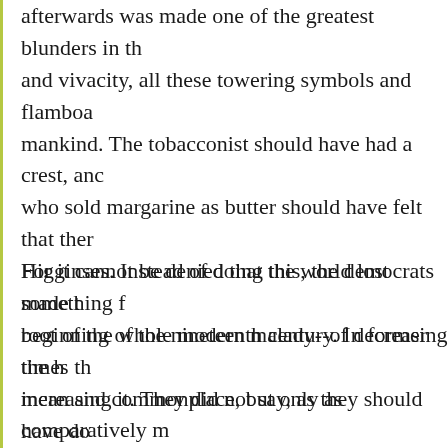afterwards was made one of the greatest blunders in th and vivacity, all these towering symbols and flamboa mankind. The tobacconist should have had a crest, anc who sold margarine as butter should have felt that ther Higginses. Instead of doing this, the democrats made t root of the whole modern malady--of decreasing the h increasing it. They did not say, as they should have do good as the Duke of Norfolk,' but used that meaner de is no better than you are.'
For it cannot be denied that the world lost something f beginning of the nineteenth century. In former times th mean and commonplace, but only as comparatively m dwarfed and eclipsed by certain high stations and sple came a principle which conceived men not as compara commonplace. A man of any station was represented a